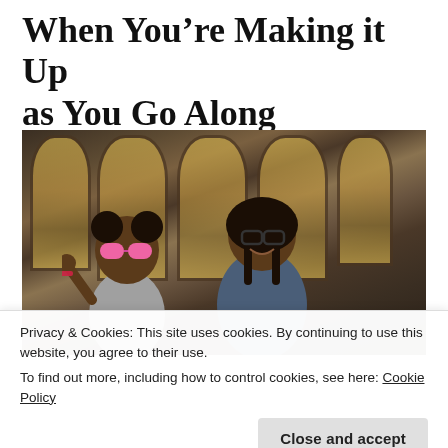When You're Making it Up as You Go Along
[Figure (photo): A woman and a young child posing together in front of decorative stained glass windows. The child is wearing large oversized pink heart-shaped sunglasses and has puff pigtails, with a bracelet on their wrist raised outward. The woman is smiling, wearing glasses and a dark denim jacket. Background shows ornate arched stained glass panels in a golden-brown wood frame.]
Privacy & Cookies: This site uses cookies. By continuing to use this website, you agree to their use.
To find out more, including how to control cookies, see here: Cookie Policy
Close and accept